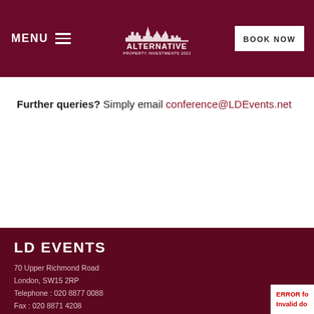MENU | ALTERNATIVE PROPERTY INVESTMENTS | BOOK NOW
Further queries? Simply email conference@LDEvents.net
LD EVENTS
70 Upper Richmond Road
London, SW15 2RP
Telephone : 020 8877 0088
Fax : 020 8871 4208
Email : info@ldevents.net